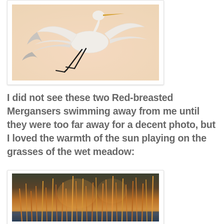[Figure (photo): A Great Egret (white heron) in flight against a warm peach/cream colored sky background. Wings spread wide, legs trailing behind.]
I did not see these two Red-breasted Mergansers swimming away from me until they were too far away for a decent photo, but I loved the warmth of the sun playing on the grasses of the wet meadow:
[Figure (photo): A wet meadow scene with warm golden-orange grasses and reeds lit by sunlight, with some blue reflective water visible at the bottom.]